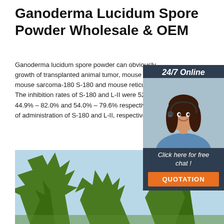Ganoderma Lucidum Spore Powder Wholesale & OEM
Ganoderma lucidum spore powder can obviously growth of transplanted animal tumor, mouse liver mouse sarcoma-180 S-180 and mouse reticulosi The inhibition rates of S-180 and L-II were 52.2% 44.9% – 82.0% and 54.0% – 79.6% respectively of administration of S-180 and L-II, respectively.
[Figure (photo): Customer service representative woman wearing headset, smiling, with 24/7 Online label and chat/quotation buttons overlay]
Get Price
[Figure (photo): Outdoor photo of green conifer trees against a light blue sky, with a TOP logo in the bottom right corner]